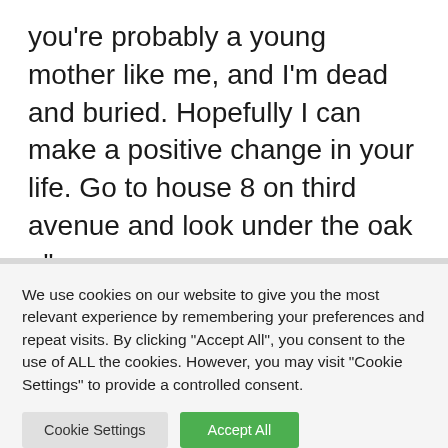you're probably a young mother like me, and I'm dead and buried. Hopefully I can make a positive change in your life. Go to house 8 on third avenue and look under the oak . ”
We use cookies on our website to give you the most relevant experience by remembering your preferences and repeat visits. By clicking “Accept All”, you consent to the use of ALL the cookies. However, you may visit "Cookie Settings" to provide a controlled consent.